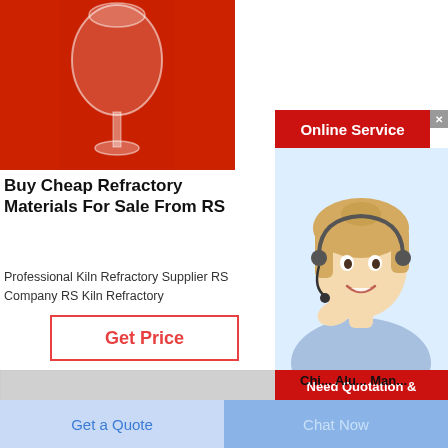[Figure (photo): Photo of a glass goblet/vessel on a red background]
Buy Cheap Refractory Materials For Sale From RS
Professional Kiln Refractory Supplier RS Company RS Kiln Refractory
Get Price
[Figure (photo): Photo of graphite electrode cylinders stacked together]
[Figure (screenshot): Online Service banner with customer service agent photo and Need Quotation & Suggestion? Free Chat popup]
Chi... Alu... Man...
Introduction Pink Chrome Alumina and Pink Fused
Get Price
Get a Quote
Chat Now